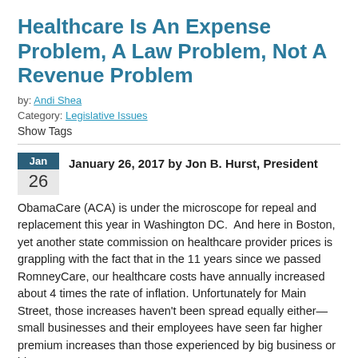Healthcare Is An Expense Problem, A Law Problem, Not A Revenue Problem
by: Andi Shea
Category: Legislative Issues
Show Tags
January 26, 2017 by Jon B. Hurst, President
ObamaCare (ACA) is under the microscope for repeal and replacement this year in Washington DC. And here in Boston, yet another state commission on healthcare provider prices is grappling with the fact that in the 11 years since we passed RomneyCare, our healthcare costs have annually increased about 4 times the rate of inflation. Unfortunately for Main Street, those increases haven't been spread equally either—small businesses and their employees have seen far higher premium increases than those experienced by big business or big government programs.
Because it...